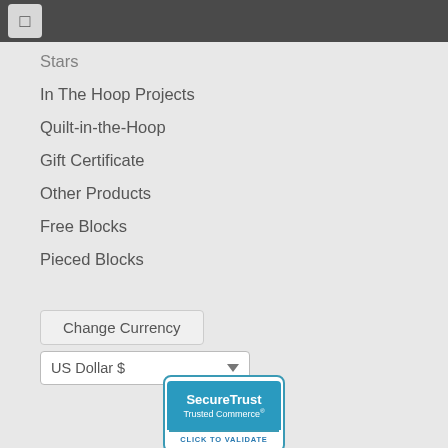[Figure (screenshot): Top navigation bar with dark grey background and a square menu icon button]
Stars
In The Hoop Projects
Quilt-in-the-Hoop
Gift Certificate
Other Products
Free Blocks
Pieced Blocks
Change Currency
US Dollar $
[Figure (logo): SecureTrust Trusted Commerce Click To Validate badge]